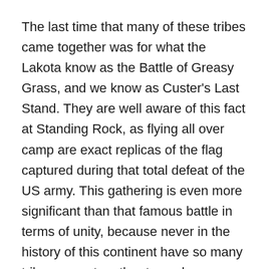The last time that many of these tribes came together was for what the Lakota know as the Battle of Greasy Grass, and we know as Custer's Last Stand. They are well aware of this fact at Standing Rock, as flying all over camp are exact replicas of the flag captured during that total defeat of the US army. This gathering is even more significant than that famous battle in terms of unity, because never in the history of this continent have so many tribes come together to work as one for a single goal. If this action against the pipeline is accomplished via grassroots indigenous support, native unity is gaining a track record of successfully fighting for their equal treatment.
What this means for us on the ground is that our top goal is to strengthen the peace and unity of the indigenous factions within the camp, and to support natives stepping